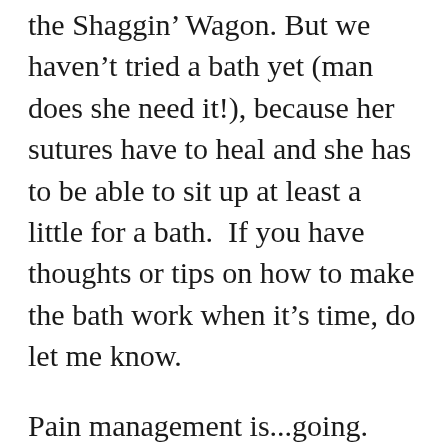the Shaggin' Wagon. But we haven't tried a bath yet (man does she need it!), because her sutures have to heal and she has to be able to sit up at least a little for a bath.  If you have thoughts or tips on how to make the bath work when it's time, do let me know.
Pain management is...going.  While I think boredom and discomfort on her back would be her main complaint, there is still pain.  Especially when we accidentally get behind with one dose.  We are still sticking to the every-four-hours schedule with two pain killers, but plan on discussing the weaning process with her doctor tomorrow.